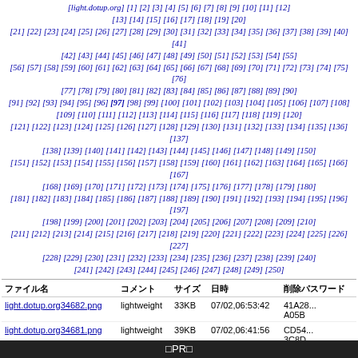[light.dotup.org] [1] [2] [3] [4] [5] [6] [7] [8] [9] [10] [11] [12] [13] [14] [15] [16] [17] [18] [19] [20] [21] [22] [23] [24] [25] [26] [27] [28] [29] [30] [31] [32] [33] [34] [35] [36] [37] [38] [39] [40] [41] [42] [43] [44] [45] [46] [47] [48] [49] [50] [51] [52] [53] [54] [55] [56] [57] [58] [59] [60] [61] [62] [63] [64] [65] [66] [67] [68] [69] [70] [71] [72] [73] [74] [75] [76] [77] [78] [79] [80] [81] [82] [83] [84] [85] [86] [87] [88] [89] [90] [91] [92] [93] [94] [95] [96] [97] [98] [99] [100] [101] [102] [103] [104] [105] [106] [107] [108] [109] [110] [111] [112] [113] [114] [115] [116] [117] [118] [119] [120] [121] [122] [123] [124] [125] [126] [127] [128] [129] [130] [131] [132] [133] [134] [135] [136] [137] [138] [139] [140] [141] [142] [143] [144] [145] [146] [147] [148] [149] [150] [151] [152] [153] [154] [155] [156] [157] [158] [159] [160] [161] [162] [163] [164] [165] [166] [167] [168] [169] [170] [171] [172] [173] [174] [175] [176] [177] [178] [179] [180] [181] [182] [183] [184] [185] [186] [187] [188] [189] [190] [191] [192] [193] [194] [195] [196] [197] [198] [199] [200] [201] [202] [203] [204] [205] [206] [207] [208] [209] [210] [211] [212] [213] [214] [215] [216] [217] [218] [219] [220] [221] [222] [223] [224] [225] [226] [227] [228] [229] [230] [231] [232] [233] [234] [235] [236] [237] [238] [239] [240] [241] [242] [243] [244] [245] [246] [247] [248] [249] [250]
| ファイル名 | コメント | サイズ | 日時 | 削除パスワード |
| --- | --- | --- | --- | --- |
| light.dotup.org34682.png | lightweight | 33KB | 07/02,06:53:42 | 41A28...A05B |
| light.dotup.org34681.png | lightweight | 39KB | 07/02,06:41:56 | CD54...3C8D |
| light.dotup.org34680.jpg | lightweight | 319KB | 07/02,05:57:17 | C6E0...966EA |
| light.dotup.org34679.png | lightweight | 679KB | 07/02,04:20:10 | □□□□.R |
| light.dotup.org34678.jpg | lightweight | 77KB | 07/02,01:27:00 | 01.jpg |
| light.dotup.org34677.jpg | lightweight | 270KB | 07/02,00:35:51 | himw... |
□PR□